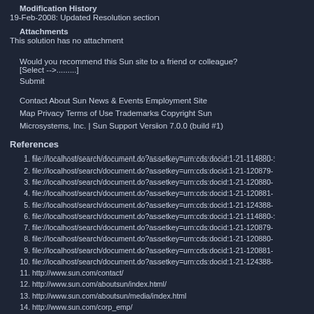Modification History
19-Feb-2008: Updated Resolution section
Attachments
This solution has no attachment
Would you recommend this Sun site to a friend or colleague?
[Select -->.........]
Submit
Contact About Sun News & Events Employment Site Map Privacy Terms of Use Trademarks Copyright Sun Microsystems, Inc. | Sun Support Version 7.0.0 (build #1)
References
file://localhost/search/document.do?assetkey=urn:cds:docid:1-21-114880-:
file://localhost/search/document.do?assetkey=urn:cds:docid:1-21-120879-
file://localhost/search/document.do?assetkey=urn:cds:docid:1-21-120880-
file://localhost/search/document.do?assetkey=urn:cds:docid:1-21-120881-
file://localhost/search/document.do?assetkey=urn:cds:docid:1-21-124388-
file://localhost/search/document.do?assetkey=urn:cds:docid:1-21-114880-:
file://localhost/search/document.do?assetkey=urn:cds:docid:1-21-120879-
file://localhost/search/document.do?assetkey=urn:cds:docid:1-21-120880-
file://localhost/search/document.do?assetkey=urn:cds:docid:1-21-120881-
file://localhost/search/document.do?assetkey=urn:cds:docid:1-21-124388-
http://www.sun.com/contact/
http://www.sun.com/aboutsun/index.html/
http://www.sun.com/aboutsun/media/index.html
http://www.sun.com/corp_emp/